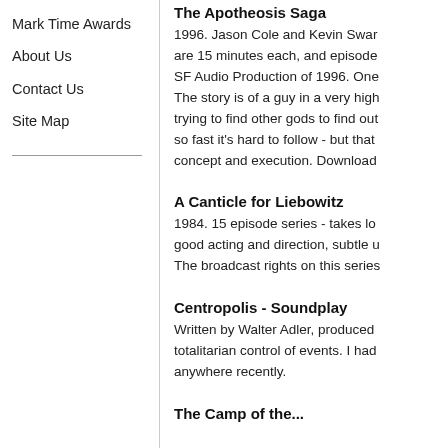Mark Time Awards
About Us
Contact Us
Site Map
The Apotheosis Saga
1996. Jason Cole and Kevin Swar... are 15 minutes each, and episode SF Audio Production of 1996. One The story is of a guy in a very high trying to find other gods to find out so fast it's hard to follow - but that concept and execution. Download
A Canticle for Liebowitz
1984. 15 episode series - takes lo... good acting and direction, subtle u... The broadcast rights on this series
Centropolis - Soundplay
Written by Walter Adler, produced ... totalitarian control of events. I had anywhere recently.
The Camp of the...